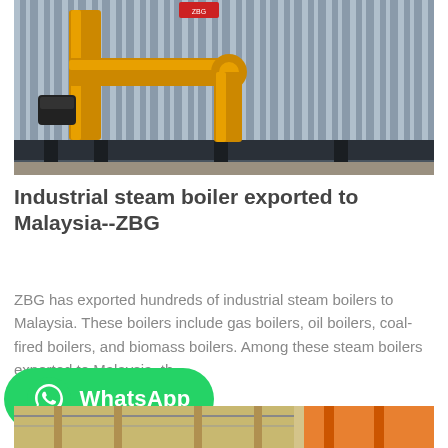[Figure (photo): Industrial steam boiler with yellow pipes and corrugated metal casing in a factory, exported to Malaysia by ZBG]
Industrial steam boiler exported to Malaysia--ZBG
ZBG has exported hundreds of industrial steam boilers to Malaysia. These boilers include gas boilers, oil boilers, coal-fired boilers, and biomass boilers. Among these steam boilers exported to Malaysia, th...
[Figure (other): WhatsApp contact button (green rounded rectangle with WhatsApp logo and text)]
[Figure (photo): Partial view of another industrial boiler at the bottom of the page]